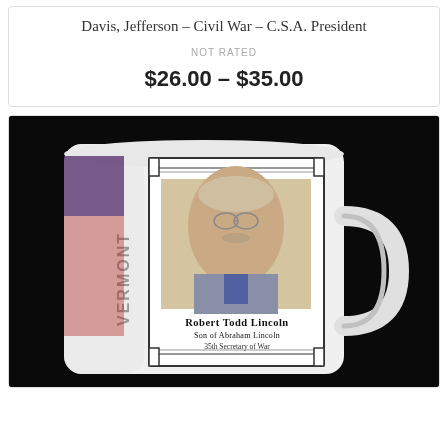Davis, Jefferson – Civil War – C.S.A. President
NOT RATED
$26.00 – $35.00
[Figure (photo): Photo of a white ceramic mug on a black background. The mug features a portrait of Robert Todd Lincoln, Son of Abraham Lincoln, 35th Secretary of War, with the word VERMONT printed vertically on the side.]